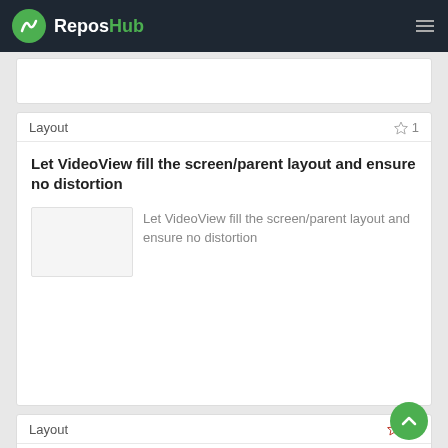ReposHub
Layout  ☆ 1
Let VideoView fill the screen/parent layout and ensure no distortion
Let VideoView fill the screen/parent layout and ensure no distortion
Layout  ☆ 32